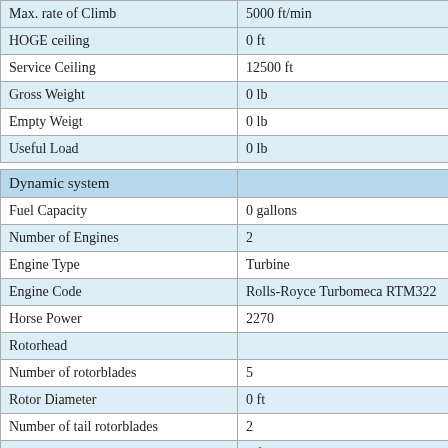| Max. rate of Climb | 5000 ft/min |
| HOGE ceiling | 0 ft |
| Service Ceiling | 12500 ft |
| Gross Weight | 0 lb |
| Empty Weigt | 0 lb |
| Useful Load | 0 lb |
| Dynamic system |  |
| Fuel Capacity | 0 gallons |
| Number of Engines | 2 |
| Engine Type | Turbine |
| Engine Code | Rolls-Royce Turbomeca RTM322 |
| Horse Power | 2270 |
| Rotorhead |  |
| Number of rotorblades | 5 |
| Rotor Diameter | 0 ft |
| Number of tail rotorblades | 2 |
| Tailrotor Diameter | 0 ft |